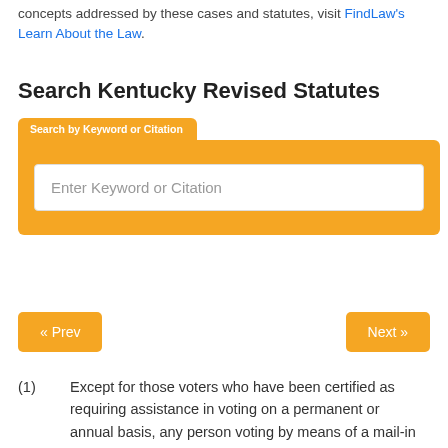concepts addressed by these cases and statutes, visit FindLaw's Learn About the Law.
Search Kentucky Revised Statutes
[Figure (screenshot): Search widget with orange tab labeled 'Search by Keyword or Citation' and input field reading 'Enter Keyword or Citation']
« Prev    Next »
(1)    Except for those voters who have been certified as requiring assistance in voting on a permanent or annual basis, any person voting by means of a mail-in absentee ballot or on the voting machine in the